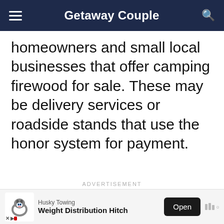Getaway Couple
homeowners and small local businesses that offer camping firewood for sale. These may be delivery services or roadside stands that use the honor system for payment.
ADVERTISEMENT
[Figure (screenshot): Bottom advertisement banner for Husky Towing Weight Distribution Hitch with dog logo and Open button]